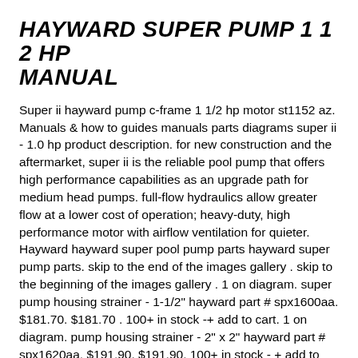HAYWARD SUPER PUMP 1 1 2 HP MANUAL
Super ii hayward pump c-frame 1 1/2 hp motor st1152 az. Manuals & how to guides manuals parts diagrams super ii - 1.0 hp product description. for new construction and the aftermarket, super ii is the reliable pool pump that offers high performance capabilities as an upgrade path for medium head pumps. full-flow hydraulics allow greater flow at a lower cost of operation; heavy-duty, high performance motor with airflow ventilation for quieter. Hayward hayward super pool pump parts hayward super pump parts. skip to the end of the images gallery . skip to the beginning of the images gallery . 1 on diagram. super pump housing strainer - 1-1/2" hayward part # spx1600aa. $181.70. $181.70 . 100+ in stock -+ add to cart. 1 on diagram. pump housing strainer - 2" x 2" hayward part # spx1620aa. $191.90. $191.90. 100+ in stock - + add to cart....
2021-10-27